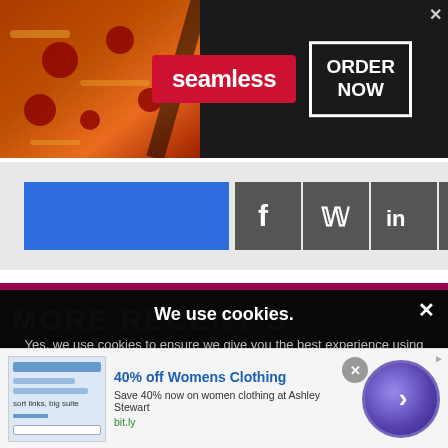[Figure (screenshot): Seamless food delivery advertisement banner with pizza image on left, red 'seamless' logo in center, and 'ORDER NOW' button on right with close X]
[Figure (screenshot): Social sharing bar with blue button on left and social media icons: Facebook, Twitter, LinkedIn, Google+, Print]
MORE RECENT S
[Figure (screenshot): Cookie consent overlay: 'We use cookies. Yes, we use cookies to ensure we give you the best experience using this website. By closing this box or clicking on the continue button, you agree to our terms of use and consent to the use of']
[Figure (screenshot): Bottom advertisement: '40% off Womens Clothing - Save 40% now on women clothing at Ashley Stewart - bit.ly' with thumbnail image and purple arrow circle button]